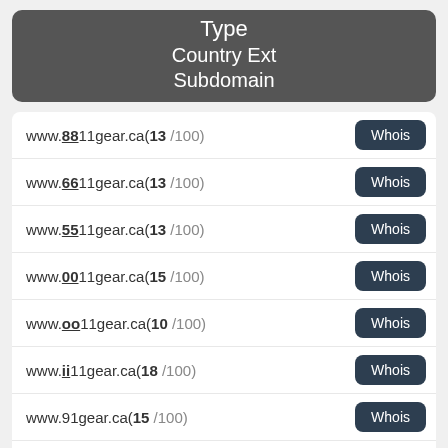Type
Country Ext
Subdomain
www.8811gear.ca(13 /100)
www.6611gear.ca(13 /100)
www.5511gear.ca(13 /100)
www.0011gear.ca(15 /100)
www.oo11gear.ca(10 /100)
www.ii11gear.ca(18 /100)
www.91gear.ca(15 /100)
www.9001gear.ca(16 /100)
www.9221gear.ca(14 /100)
www.9441gear.ca(12 /100)